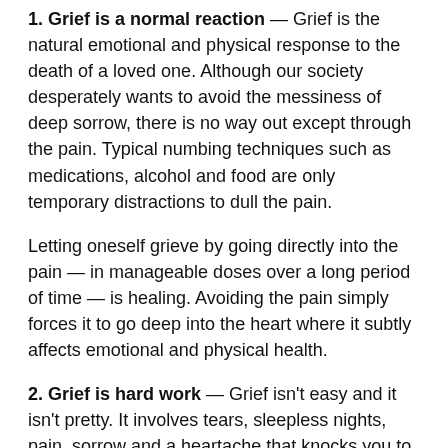1. Grief is a normal reaction — Grief is the natural emotional and physical response to the death of a loved one. Although our society desperately wants to avoid the messiness of deep sorrow, there is no way out except through the pain. Typical numbing techniques such as medications, alcohol and food are only temporary distractions to dull the pain.
Letting oneself grieve by going directly into the pain — in manageable doses over a long period of time — is healing. Avoiding the pain simply forces it to go deep into the heart where it subtly affects emotional and physical health.
2. Grief is hard work — Grief isn't easy and it isn't pretty. It involves tears, sleepless nights, pain, sorrow and a heartache that knocks you to your knees. It can be hard to concentrate, hard to think clearly, hard to read and easy to forget all the details of life that everyone else